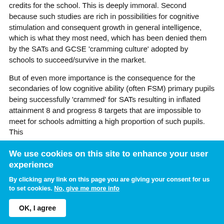credits for the school. This is deeply immoral. Second because such studies are rich in possibilities for cognitive stimulation and consequent growth in general intelligence, which is what they most need, which has been denied them by the SATs and GCSE 'cramming culture' adopted by schools to succeed/survive in the market.
But of even more importance is the consequence for the secondaries of low cognitive ability (often FSM) primary pupils being successfully 'crammed' for SATs resulting in inflated attainment 8 and progress 8 targets that are impossible to meet for schools admitting a high proportion of such pupils. This
We use cookies on this site to enhance your user experience
By clicking any link on this page you are giving your consent for us to set cookies. No, give me more info
OK, I agree